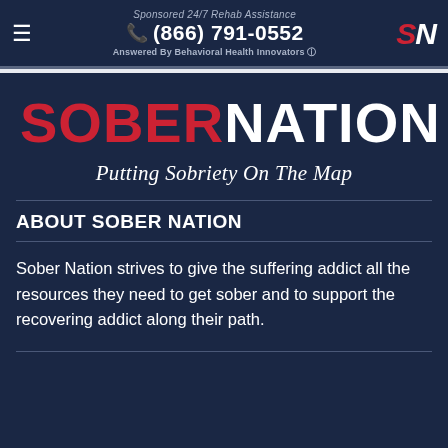Sponsored 24/7 Rehab Assistance | (866) 791-0552 | Answered By Behavioral Health Innovators | SN
SOBERNATION
Putting Sobriety On The Map
ABOUT SOBER NATION
Sober Nation strives to give the suffering addict all the resources they need to get sober and to support the recovering addict along their path.